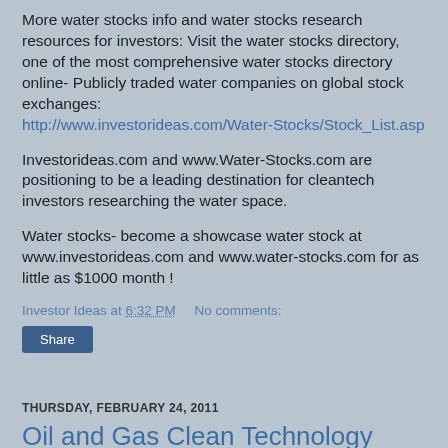More water stocks info and water stocks research resources for investors: Visit the water stocks directory, one of the most comprehensive water stocks directory online- Publicly traded water companies on global stock exchanges: http://www.investorideas.com/Water-Stocks/Stock_List.asp
Investorideas.com and www.Water-Stocks.com are positioning to be a leading destination for cleantech investors researching the water space.
Water stocks- become a showcase water stock at www.investorideas.com and www.water-stocks.com for as little as $1000 month !
Investor Ideas at 6:32 PM   No comments:
THURSDAY, FEBRUARY 24, 2011
Oil and Gas Clean Technology News; Wescorp (OTCBB:WSCF) Helps